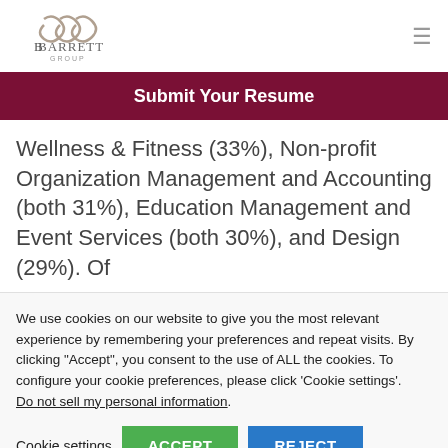Barrett Group logo and navigation
Submit Your Resume
Wellness & Fitness (33%), Non-profit Organization Management and Accounting (both 31%), Education Management and Event Services (both 30%), and Design (29%). Of
We use cookies on our website to give you the most relevant experience by remembering your preferences and repeat visits. By clicking "Accept", you consent to the use of ALL the cookies. To configure your cookie preferences, please click 'Cookie settings'. Do not sell my personal information.
Cookie settings  ACCEPT  REJECT